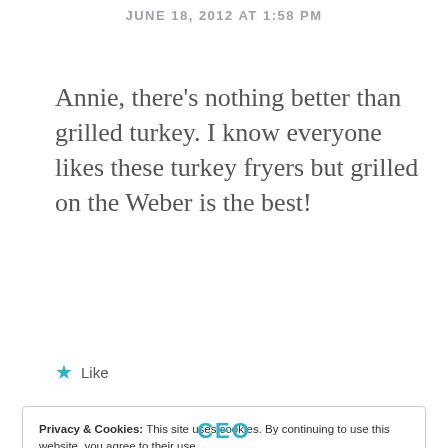JUNE 18, 2012 AT 1:58 PM
Annie, there’s nothing better than grilled turkey. I know everyone likes these turkey fryers but grilled on the Weber is the best!
★ Like
Privacy & Cookies: This site uses cookies. By continuing to use this website, you agree to their use.
To find out more, including how to control cookies, see here:
Cookie Policy
Close and accept
CEO